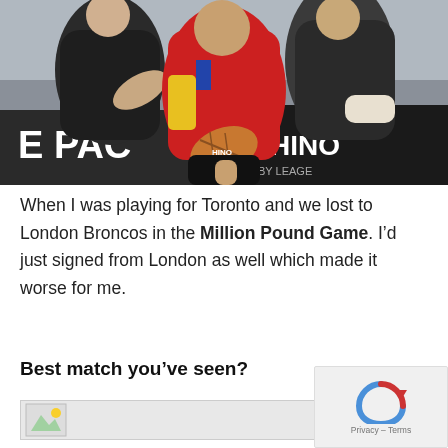[Figure (photo): Rugby league action photo showing a player in red carrying the ball being tackled by two players in black and white jerseys. The player in red has yellow trim on their kit. A rugby ball is visible. The background shows advertising hoardings including 'E PAC' and 'HINO'.]
When I was playing for Toronto and we lost to London Broncos in the Million Pound Game. I’d just signed from London as well which made it worse for me.
Best match you’ve seen?
[Figure (photo): Partially visible image at the bottom of the page, appears to be another photo, mostly cut off.]